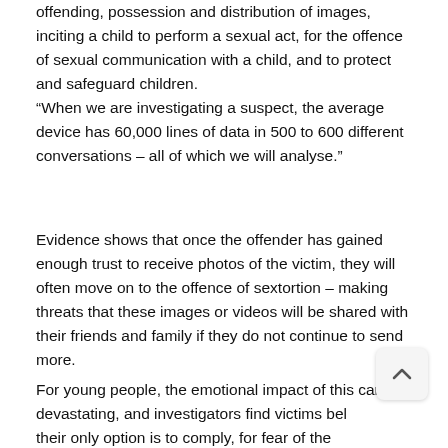offending, possession and distribution of images, inciting a child to perform a sexual act, for the offence of sexual communication with a child, and to protect and safeguard children.
“When we are investigating a suspect, the average device has 60,000 lines of data in 500 to 600 different conversations – all of which we will analyse.”
Evidence shows that once the offender has gained enough trust to receive photos of the victim, they will often move on to the offence of sextortion – making threats that these images or videos will be shared with their friends and family if they do not continue to send more.
For young people, the emotional impact of this can be devastating, and investigators find victims bel their only option is to comply, for fear of the